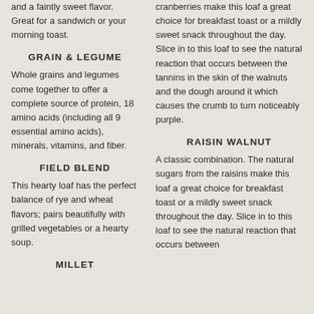and a faintly sweet flavor. Great for a sandwich or your morning toast.
GRAIN & LEGUME
Whole grains and legumes come together to offer a complete source of protein, 18 amino acids (including all 9 essential amino acids), minerals, vitamins, and fiber.
FIELD BLEND
This hearty loaf has the perfect balance of rye and wheat flavors; pairs beautifully with grilled vegetables or a hearty soup.
MILLET
cranberries make this loaf a great choice for breakfast toast or a mildly sweet snack throughout the day. Slice in to this loaf to see the natural reaction that occurs between the tannins in the skin of the walnuts and the dough around it which causes the crumb to turn noticeably purple.
RAISIN WALNUT
A classic combination. The natural sugars from the raisins make this loaf a great choice for breakfast toast or a mildly sweet snack throughout the day. Slice in to this loaf to see the natural reaction that occurs between